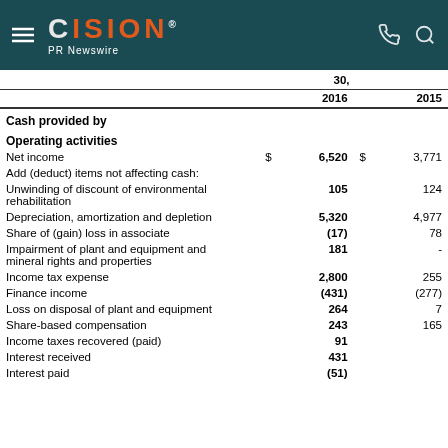CISION PR Newswire
|  |  | 2016 |  | 2015 |
| --- | --- | --- | --- | --- |
| Cash provided by |  |  |  |  |
| Operating activities |  |  |  |  |
| Net income | $ | 6,520 | $ | 3,771 |
| Add (deduct) items not affecting cash: |  |  |  |  |
| Unwinding of discount of environmental rehabilitation |  | 105 |  | 124 |
| Depreciation, amortization and depletion |  | 5,320 |  | 4,977 |
| Share of (gain) loss in associate |  | (17) |  | 78 |
| Impairment of plant and equipment and mineral rights and properties |  | 181 |  | - |
| Income tax expense |  | 2,800 |  | 255 |
| Finance income |  | (431) |  | (277) |
| Loss on disposal of plant and equipment |  | 264 |  | 7 |
| Share-based compensation |  | 243 |  | 165 |
| Income taxes recovered (paid) |  | 91 |  |  |
| Interest received |  | 431 |  |  |
| Interest paid |  | (51) |  |  |